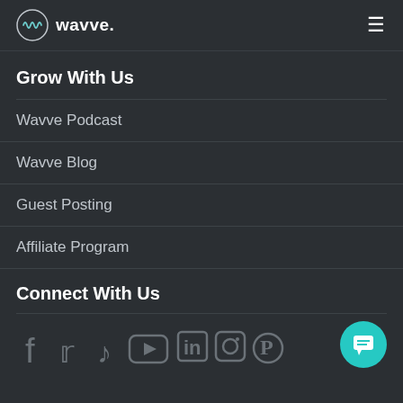wavve.
Grow With Us
Wavve Podcast
Wavve Blog
Guest Posting
Affiliate Program
Connect With Us
[Figure (other): Social media icons: Facebook, Twitter, TikTok, YouTube, LinkedIn, Instagram, Pinterest]